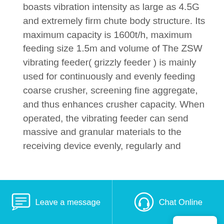boasts vibration intensity as large as 4.5G and extremely firm chute body structure. Its maximum capacity is 1600t/h, maximum feeding size 1.5m and volume of The ZSW vibrating feeder( grizzly feeder ) is mainly used for continuously and evenly feeding coarse crusher, screening fine aggregate, and thus enhances crusher capacity. When operated, the vibrating feeder can send massive and granular materials to the receiving device evenly, regularly and
[Figure (other): Notification popup with rocket icon]
Get Price
Related News
Leave a message   Chat Online